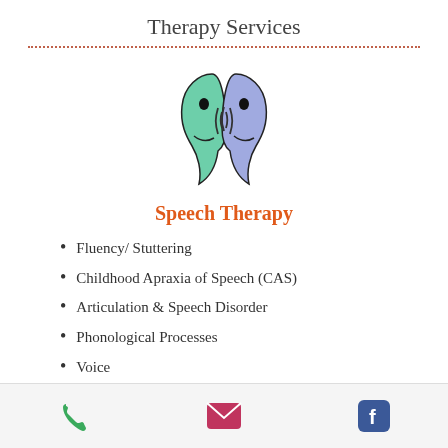Therapy Services
[Figure (illustration): Two stylized face profiles (green and blue) facing each other with speech sound waves between them, representing speech therapy.]
Speech Therapy
Fluency/ Stuttering
Childhood Apraxia of Speech (CAS)
Articulation & Speech Disorder
Phonological Processes
Voice
More Info
Phone | Email | Facebook